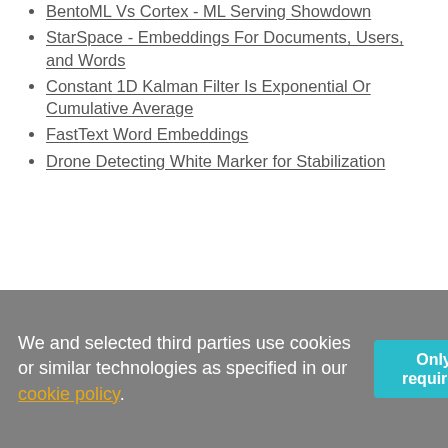BentoML Vs Cortex - ML Serving Showdown
StarSpace - Embeddings For Documents, Users, and Words
Constant 1D Kalman Filter Is Exponential Or Cumulative Average
FastText Word Embeddings
Drone Detecting White Marker for Stabilization
We and selected third parties use cookies or similar technologies as specified in our cookie policy.
Only required
Accept all